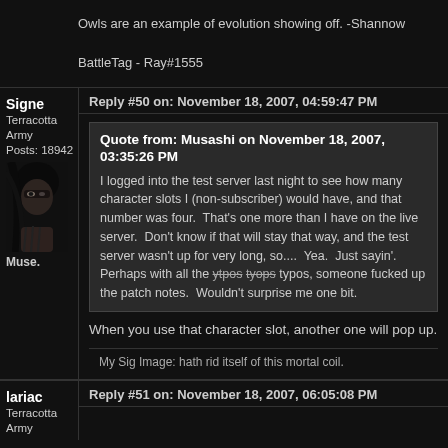Owls are an example of evolution showing off. -Shannow
BattleTag - Ray#1555
Signe
Terracotta Army
Posts: 18942
Reply #50 on: November 18, 2007, 04:59:47 PM
Quote from: Musashi on November 18, 2007, 03:35:26 PM
I logged into the test server last night to see how many character slots I (non-subscriber) would have, and that number was four. That's one more than I have on the live server. Don't know if that will stay that way, and the test server wasn't up for very long, so.... Yea. Just sayin'. Perhaps with all the ytpos tyops typos, someone fucked up the patch notes. Wouldn't surprise me one bit.
When you use that character slot, another one will pop up.
My Sig Image: hath rid itself of this mortal coil.
lariac
Terracotta Army
Reply #51 on: November 18, 2007, 06:05:08 PM